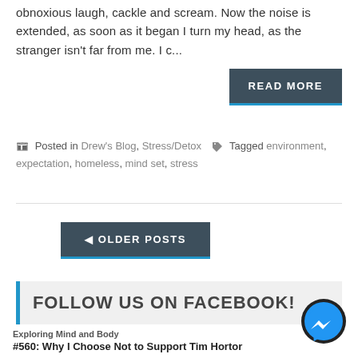obnoxious laugh, cackle and scream. Now the noise is extended, as soon as it began I turn my head, as the stranger isn't far from me. I c...
READ MORE
Posted in Drew's Blog, Stress/Detox   Tagged environment, expectation, homeless, mind set, stress
◄ OLDER POSTS
FOLLOW US ON FACEBOOK!
Exploring Mind and Body
#560: Why I Choose Not to Support Tim Hortor